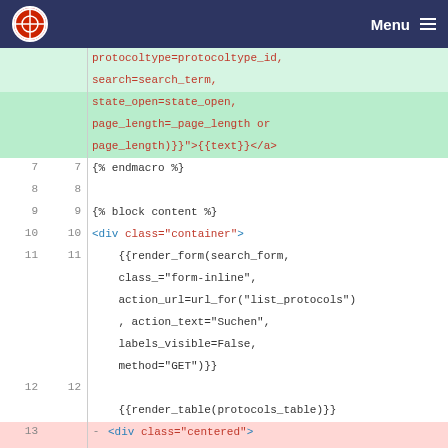Menu
[Figure (screenshot): Code diff view showing Jinja2/HTML template code with line numbers, green highlighted additions and red highlighted deletions. Lines 7-15 visible.]